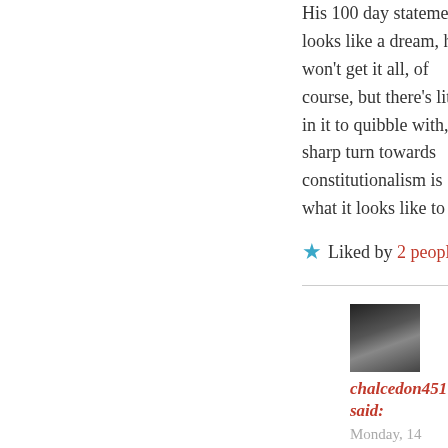His 100 day statement looks like a dream, he won't get it all, of course, but there's little in it to quibble with, a sharp turn towards constitutionalism is what it looks like to me.
Liked by 2 people
[Figure (photo): Avatar photo of commenter chalcedon451]
chalcedon451 said:
Monday, 14 November 2016 at 5:19 pm
Those operating with an hermeneutic of paranoia will read what they want to